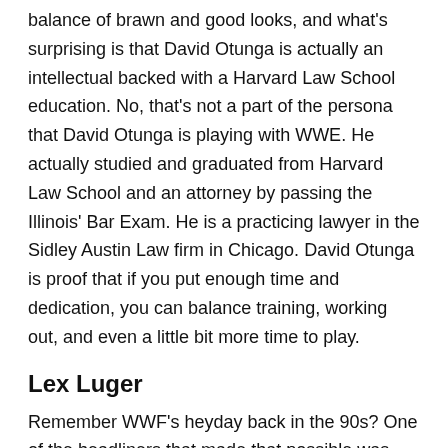balance of brawn and good looks, and what's surprising is that David Otunga is actually an intellectual backed with a Harvard Law School education. No, that's not a part of the persona that David Otunga is playing with WWE. He actually studied and graduated from Harvard Law School and an attorney by passing the Illinois' Bar Exam. He is a practicing lawyer in the Sidley Austin Law firm in Chicago. David Otunga is proof that if you put enough time and dedication, you can balance training, working out, and even a little bit more time to play.
Lex Luger
Remember WWF's heyday back in the 90s? One of the headliners that made that possible was Lex Luger. Lex Luger was arguably one of the best wrestlers in the 90s. His role as an antagonist, and later on as a protagonist made him one of the fan favorites as well. One of the most memorable moments in Lex Luger's sports entertainment